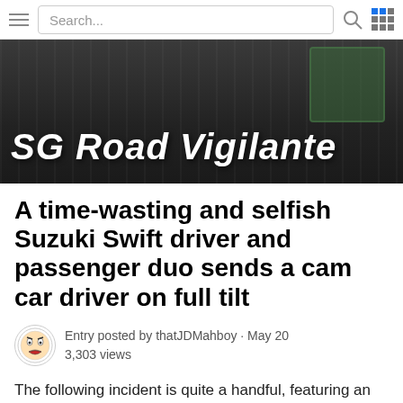Search...
[Figure (photo): Dark banner image with bold white italic text reading 'SG Road Vigilante']
A time-wasting and selfish Suzuki Swift driver and passenger duo sends a cam car driver on full tilt
Entry posted by thatJDMahboy · May 20
3,303 views
The following incident is quite a handful, featuring an inconsiderate Suzuki swift driver, the Suzuki's 'guai-lan' passenger and a very angry cam car driver.